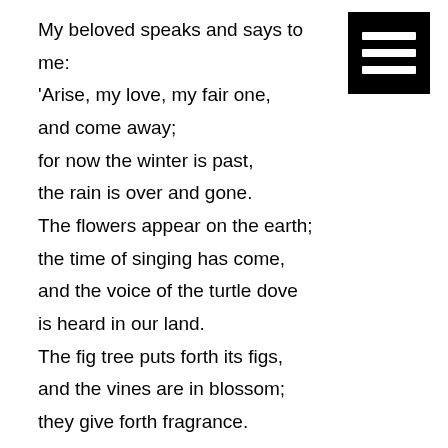My beloved speaks and says to me:
'Arise, my love, my fair one,
and come away;
for now the winter is past,
the rain is over and gone.
The flowers appear on the earth;
the time of singing has come,
and the voice of the turtle dove
is heard in our land.
The fig tree puts forth its figs,
and the vines are in blossom;
they give forth fragrance.
Arise, my love, my fair one,
and come away.'

Set me as a seal upon your heart,